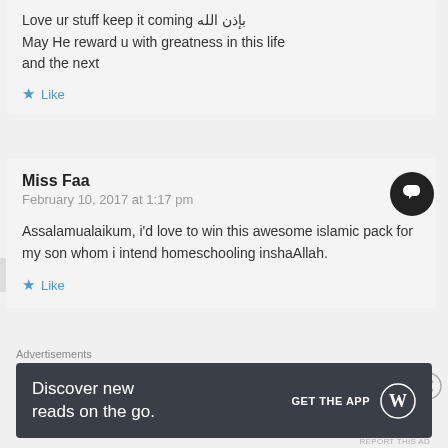Love ur stuff keep it coming بإذن الله May He reward u with greatness in this life and the next
Like
Miss Faa
February 10, 2017 at 1:17 pm
Assalamualaikum, i'd love to win this awesome islamic pack for my son whom i intend homeschooling inshaAllah.
Like
Advertisements
[Figure (screenshot): Dark banner ad reading 'Discover new reads on the go.' with 'GET THE APP' call to action and WordPress logo]